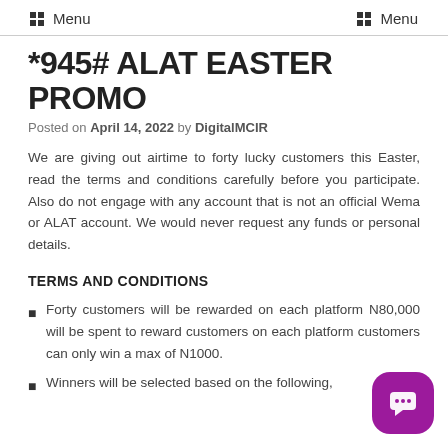Menu  Menu
*945# ALAT EASTER PROMO
Posted on April 14, 2022 by DigitalMCIR
We are giving out airtime to forty lucky customers this Easter, read the terms and conditions carefully before you participate. Also do not engage with any account that is not an official Wema or ALAT account. We would never request any funds or personal details.
TERMS AND CONDITIONS
Forty customers will be rewarded on each platform N80,000 will be spent to reward customers on each platform customers can only win a max of N1000.
Winners will be selected based on the following,